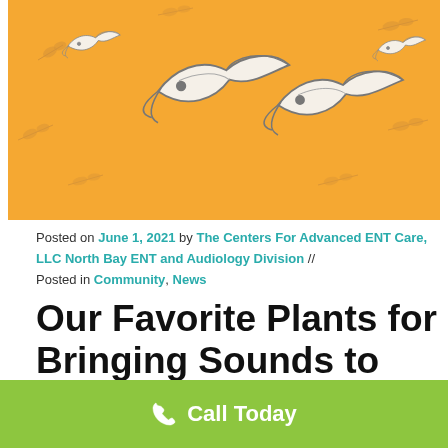[Figure (illustration): Orange/yellow banner with illustrated swallows/birds in flight and leaf/branch decorations on a golden-orange background]
Posted on June 1, 2021 by The Centers For Advanced ENT Care, LLC North Bay ENT and Audiology Division // Posted in Community, News
Our Favorite Plants for Bringing Sounds to the Yard!
From chirping, tweeting, and trilling to whistling, hooting, and cooing, birds can turn the quietest
Call Today